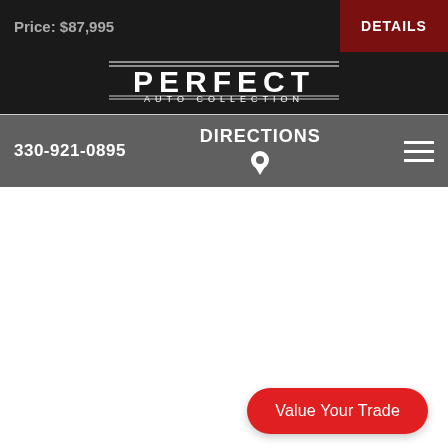Price: $87,995
DETAILS
[Figure (logo): Perfect Auto Collection logo — white bold text PERFECT with AUTO COLLECTION in smaller text below, decorative double horizontal lines]
330-921-0895
DIRECTIONS
Value Your Trade